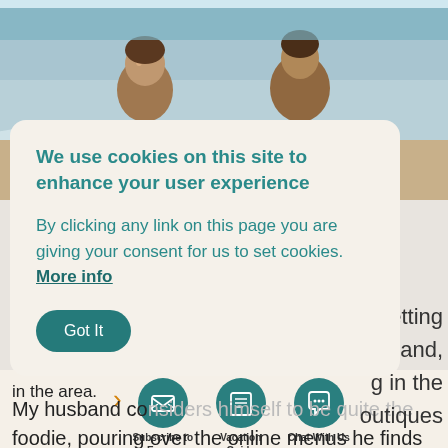[Figure (photo): Two children at a beach, smiling at the camera with ocean waves behind them]
We use cookies on this site to enhance your user experience
By clicking any link on this page you are giving your consent for us to set cookies. More info
Got It
in the area.
[Figure (illustration): Envelope/email icon in teal circle]
[Figure (illustration): Book/guide icon in teal circle]
[Figure (illustration): Chat bubble icon in teal circle]
Subscribe to Enews
Vacation Guide
Chat With Us
My husband considers himself to be quite the foodie, pouring over the online menus he finds